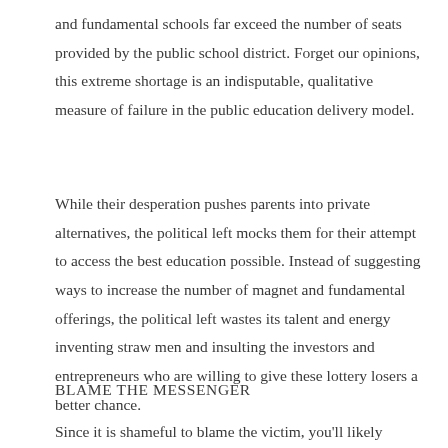and fundamental schools far exceed the number of seats provided by the public school district. Forget our opinions, this extreme shortage is an indisputable, qualitative measure of failure in the public education delivery model.
While their desperation pushes parents into private alternatives, the political left mocks them for their attempt to access the best education possible. Instead of suggesting ways to increase the number of magnet and fundamental offerings, the political left wastes its talent and energy inventing straw men and insulting the investors and entrepreneurs who are willing to give these lottery losers a better chance.
BLAME THE MESSENGER
Since it is shameful to blame the victim, you'll likely